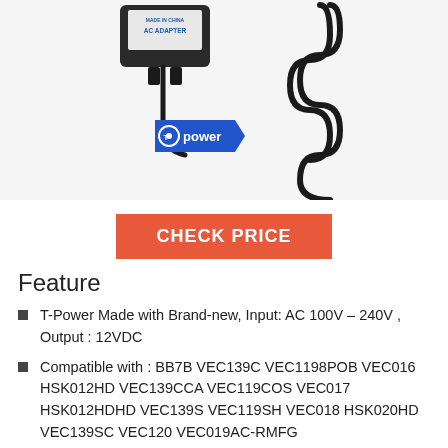[Figure (photo): T-Power AC adapter with blue branded label showing 'T Power' logo, and a coiled black cable on a white background. The adapter label reads 'AC ADAPTER' and 'MADE IN CHINA'.]
CHECK PRICE
Feature
T-Power Made with Brand-new, Input: AC 100V – 240V , Output : 12VDC
Compatible with : BB7B VEC139C VEC1198POB VEC016 HSK012HD VEC139CCA VEC119COS VEC017 HSK012HDHD VEC139S VEC119SH VEC018 HSK020HD VEC139SC VEC120 VEC019AC-RMFG